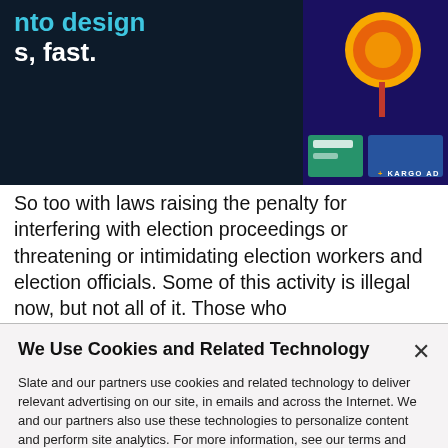[Figure (screenshot): Dark blue advertisement banner with white bold text partially visible reading '...into Design' and 's, fast.' in white, with cyan/blue accent color. Top-right shows a colorful illustration with orange circle and design elements. Bottom-right shows '+ KARGO AD' label.]
So too with laws raising the penalty for interfering with election proceedings or threatening or intimidating election workers and election officials. Some of this activity is illegal now, but not all of it. Those who
We Use Cookies and Related Technology
Slate and our partners use cookies and related technology to deliver relevant advertising on our site, in emails and across the Internet. We and our partners also use these technologies to personalize content and perform site analytics. For more information, see our terms and privacy policy.  Privacy Policy
OK